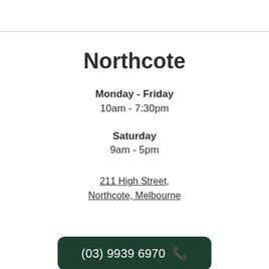Northcote
Monday - Friday
10am - 7:30pm
Saturday
9am - 5pm
211 High Street, Northcote, Melbourne
(03) 9939 6970